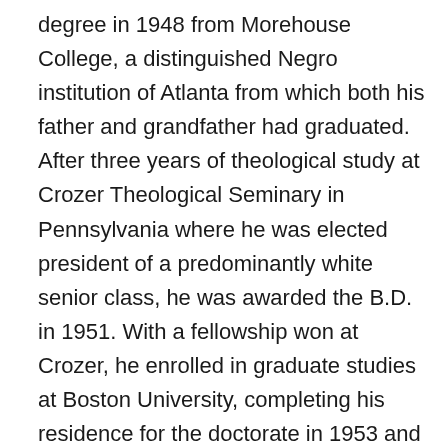degree in 1948 from Morehouse College, a distinguished Negro institution of Atlanta from which both his father and grandfather had graduated. After three years of theological study at Crozer Theological Seminary in Pennsylvania where he was elected president of a predominantly white senior class, he was awarded the B.D. in 1951. With a fellowship won at Crozer, he enrolled in graduate studies at Boston University, completing his residence for the doctorate in 1953 and receiving the degree in 1955. In Boston he met and married Coretta Scott, a young woman of uncommon intellectual and artistic attainments. Two sons and two daughters were born into the family.
In 1954, Martin Luther King became pastor of the Dexter Avenue Baptist Church in Montgomery, Alabama. Always a